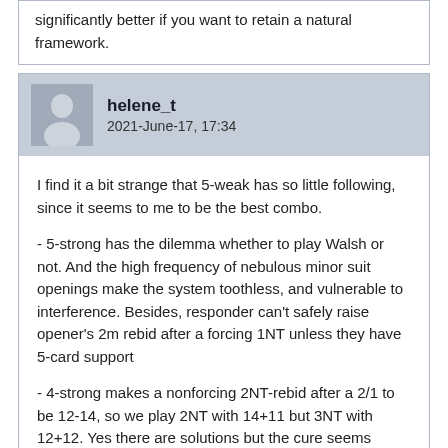significantly better if you want to retain a natural framework.
helene_t
2021-June-17, 17:34
I find it a bit strange that 5-weak has so little following, since it seems to me to be the best combo.
- 5-strong has the dilemma whether to play Walsh or not. And the high frequency of nebulous minor suit openings make the system toothless, and vulnerable to interference. Besides, responder can't safely raise opener's 2m rebid after a forcing 1NT unless they have 5-card support
- 4-strong makes a nonforcing 2NT-rebid after a 2/1 to be 12-14, so we play 2NT with 14+11 but 3NT with 12+12. Yes there are solutions but the cure seems worse than the disease.
- 4-weak makes you play 1M in 4-1 fits when opps can't make game, and you really don't want to hold a 15-17 balanced hand when partner responds 1NT to your 1M opening. And 2/1 auctions become inaccurate because we can have a misfitting combined 21-count so